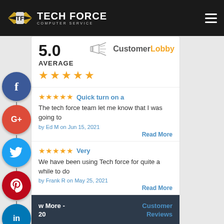More Client Reviews
[Figure (logo): Tech Force Computer Service logo with wings emblem on dark nav bar]
[Figure (infographic): CustomerLobby widget showing 5.0 average rating with 5 orange stars and megaphone icon]
[Figure (infographic): Social media sharing icons bar: Facebook, Google+, Twitter, Pinterest, LinkedIn, Instagram, More]
★★★★★ Quick turn on a
The tech force team let me know that I was going to
by Ed M on Jun 15, 2021
Read More
★★★★★ Very
We have been using Tech force for quite a while to do
by Frank R on May 25, 2021
Read More
w More - 20   Customer Reviews
Read Our Customer Reviews